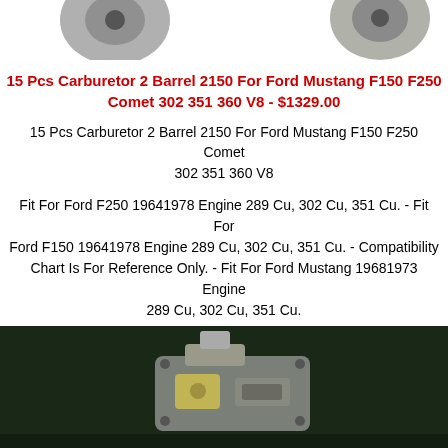[Figure (photo): Partial product images at top of page - two carburetor/product images partially visible]
15 Pcs Carburetor 2 Barrel 2150 For Ford Mustang F150 F250 Comet 302 351 360 V8 - $1329.00
15 Pcs Carburetor 2 Barrel 2150 For Ford Mustang F150 F250 Comet 302 351 360 V8
Fit For Ford F250 19641978 Engine 289 Cu, 302 Cu, 351 Cu. - Fit For Ford F150 19641978 Engine 289 Cu, 302 Cu, 351 Cu. - Compatibility Chart Is For Reference Only. - Fit For Ford Mustang 19681973 Engine 289 Cu, 302 Cu, 351 Cu.
[Figure (photo): Close-up dark photo of a carburetor part on dark background]